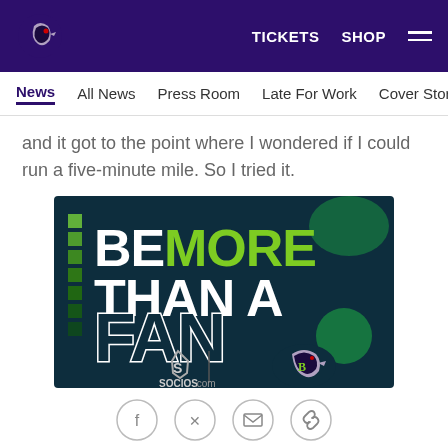Baltimore Ravens site header with logo, TICKETS, SHOP, and hamburger menu
News | All News | Press Room | Late For Work | Cover Story | Soc
and it got to the point where I wondered if I could run a five-minute mile. So I tried it.
[Figure (illustration): Advertisement: BE MORE THAN A FAN — socios.com with Baltimore Ravens logo on dark teal background with green squares on left side]
[Figure (infographic): Social share icons: Facebook, Twitter, Email, Link]